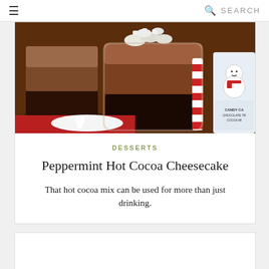☰  SEARCH
[Figure (photo): Close-up photo of a peppermint hot cocoa cheesecake dessert in a glass cup with whipped cream and mini marshmallows on top, layered chocolate mousse, with a candy cane hot cocoa mix box visible in the background featuring a snowman illustration.]
DESSERTS
Peppermint Hot Cocoa Cheesecake
That hot cocoa mix can be used for more than just drinking.